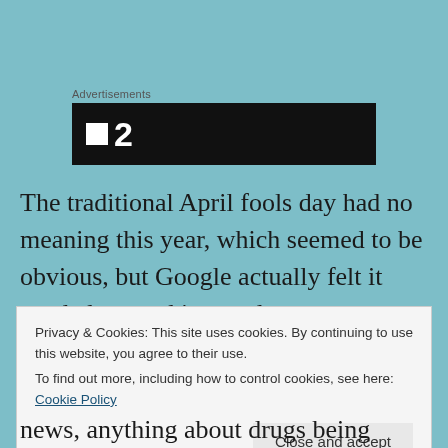Advertisements
[Figure (other): Black advertisement banner with white square icon and number 2]
The traditional April fools day had no meaning this year, which seemed to be obvious, but Google actually felt it needed to send its employees a memo saying it wasn't the right time to do April Fools pranks.
Privacy & Cookies: This site uses cookies. By continuing to use this website, you agree to their use.
To find out more, including how to control cookies, see here: Cookie Policy
Close and accept
news, anything about drugs being tested successfully,